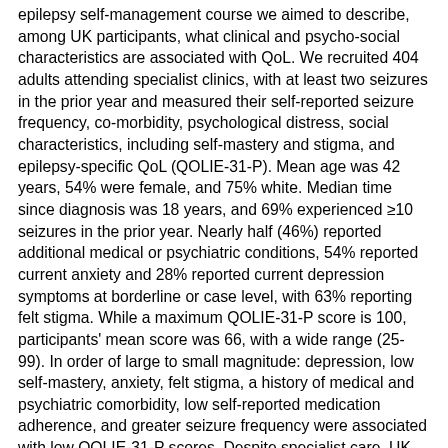epilepsy self-management course we aimed to describe, among UK participants, what clinical and psycho-social characteristics are associated with QoL. We recruited 404 adults attending specialist clinics, with at least two seizures in the prior year and measured their self-reported seizure frequency, co-morbidity, psychological distress, social characteristics, including self-mastery and stigma, and epilepsy-specific QoL (QOLIE-31-P). Mean age was 42 years, 54% were female, and 75% white. Median time since diagnosis was 18 years, and 69% experienced ≥10 seizures in the prior year. Nearly half (46%) reported additional medical or psychiatric conditions, 54% reported current anxiety and 28% reported current depression symptoms at borderline or case level, with 63% reporting felt stigma. While a maximum QOLIE-31-P score is 100, participants' mean score was 66, with a wide range (25-99). In order of large to small magnitude: depression, low self-mastery, anxiety, felt stigma, a history of medical and psychiatric comorbidity, low self-reported medication adherence, and greater seizure frequency were associated with low QOLIE-31-P scores. Despite specialist care, UK people with epilepsy and persistent seizures experience low QoL. If QoL is the main outcome in epilepsy trials, developing and